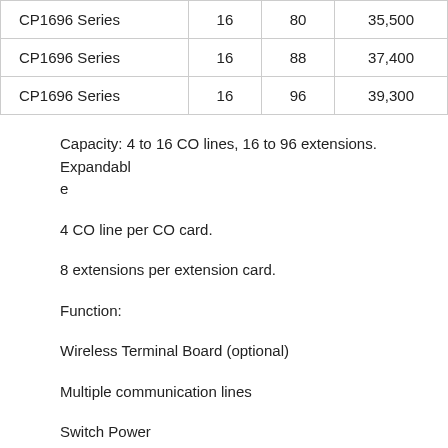| CP1696 Series | 16 | 80 | 35,500 |
| CP1696 Series | 16 | 88 | 37,400 |
| CP1696 Series | 16 | 96 | 39,300 |
Capacity: 4 to 16 CO lines, 16 to 96 extensions. Expandable
4 CO line per CO card.
8 extensions per extension card.
Function:
Wireless Terminal Board (optional)
Multiple communication lines
Switch Power